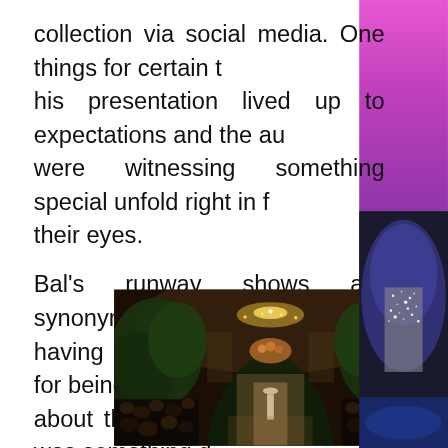collection via social media. One things for certain that his presentation lived up to expectations and the audience were witnessing something special unfold right in front of their eyes.

Bal's runway shows are synonymous with entertainment, having established a reputation for being more than just about the garments itself. There was something different about this show
[Figure (photo): Interior of an elegant venue decorated with lush greenery and chandeliers, with a model walking down a runway surrounded by seated audience members in dim warm lighting.]
[Figure (photo): Partial view of a person wearing a sequined or glittery garment against a purple/blue stage lighting background.]